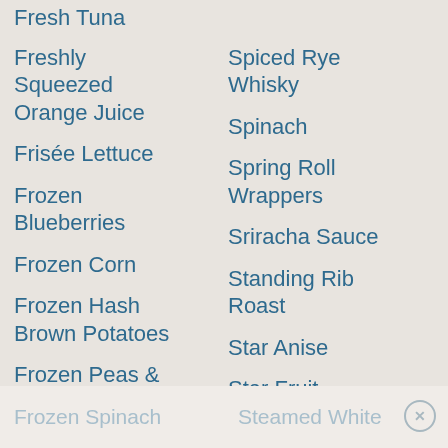Fresh Tuna
Freshly Squeezed Orange Juice
Frisée Lettuce
Frozen Blueberries
Frozen Corn
Frozen Hash Brown Potatoes
Frozen Peas & Carrots
Frozen Spinach
Spiced Rye Whisky
Spinach
Spring Roll Wrappers
Sriracha Sauce
Standing Rib Roast
Star Anise
Star Fruit
Starkrimson Pear
Steamed White